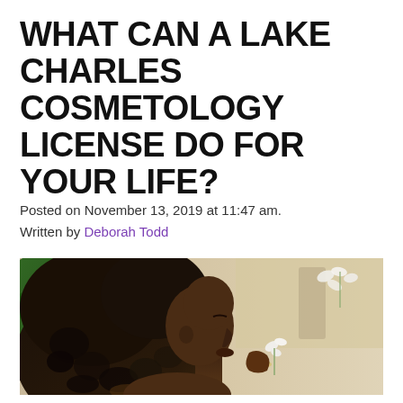WHAT CAN A LAKE CHARLES COSMETOLOGY LICENSE DO FOR YOUR LIFE?
Posted on November 13, 2019 at 11:47 am.
Written by Deborah Todd
[Figure (photo): A Black woman with long curly hair photographed in profile, eyes closed, holding a white flower near her face. Green tropical leaves visible in background, soft beige/white background.]